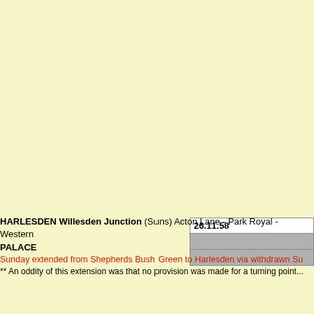| 26.11.58 |  |  |
| --- | --- | --- |
| 26.11.58 |
|  |
|  |
HARLESDEN Willesden Junction (Suns) Acton Lane - Park Royal - Western PALACE
Sunday extended from Shepherds Bush Green to Harlesden via withdrawn Su
** An oddity of this extension was that no provision was made for a turning point...